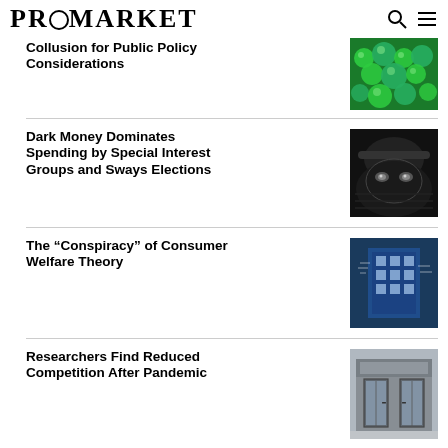PROMARKET
Collusion for Public Policy Considerations
[Figure (photo): Green spherical objects/balls]
Dark Money Dominates Spending by Special Interest Groups and Sways Elections
[Figure (photo): Black and white photo, dark face/figure]
The “Conspiracy” of Consumer Welfare Theory
[Figure (photo): Blue tinted building with text/signs]
Researchers Find Reduced Competition After Pandemic
[Figure (photo): Storefront with glass doors/windows, closed business]